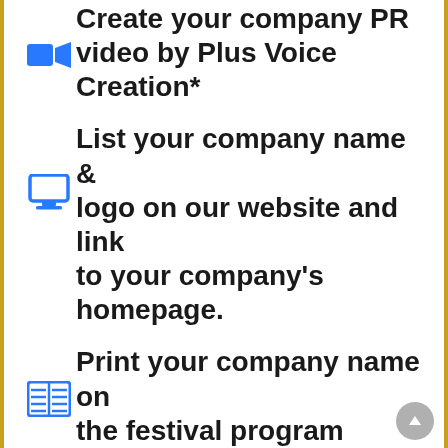Create your company PR video by Plus Voice Creation*
List your company name & logo on our website and link to your company's homepage.
Print your company name on the festival program brochure
Hand out your company's